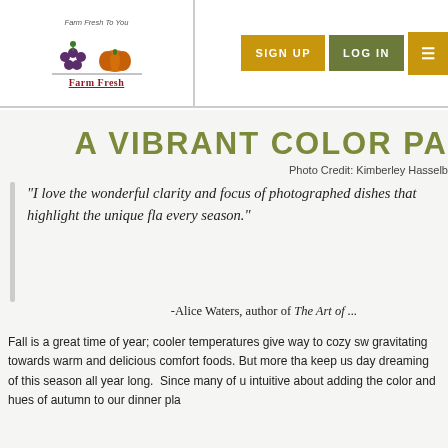[Figure (logo): Farm Fresh To You logo with grapes and pumpkin illustration and red stylized text]
SIGN UP  LOG IN  ☰
A VIBRANT COLOR PA...
Photo Credit: Kimberley Hasselb...
"I love the wonderful clarity and focus of photographed dishes that highlight the unique fla... every season."
-Alice Waters, author of The Art of ...
Fall is a great time of year; cooler temperatures give way to cozy sw... gravitating towards warm and delicious comfort foods. But more tha... keep us day dreaming of this season all year long.  Since many of u... intuitive about adding the color and hues of autumn to our dinner pla...